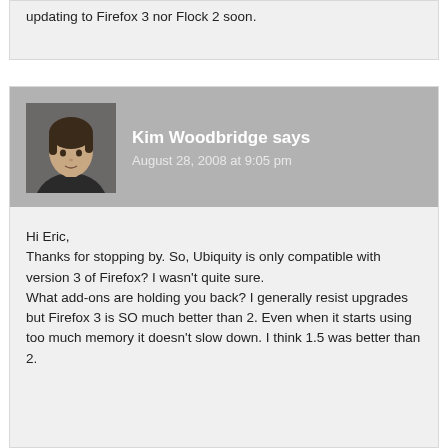updating to Firefox 3 nor Flock 2 soon.
Kim Woodbridge says
August 28, 2008 at 9:05 pm
Hi Eric,
Thanks for stopping by. So, Ubiquity is only compatible with version 3 of Firefox? I wasn't quite sure.
What add-ons are holding you back? I generally resist upgrades but Firefox 3 is SO much better than 2. Even when it starts using too much memory it doesn't slow down. I think 1.5 was better than 2.